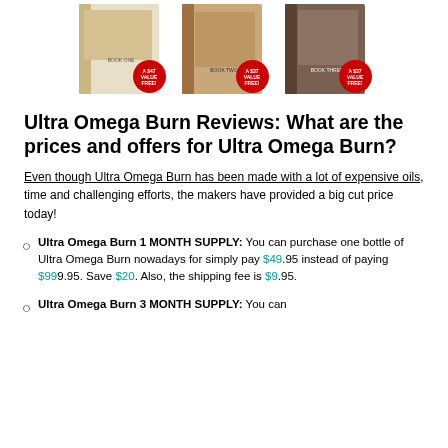[Figure (illustration): Three book/product images side by side, each with a red circular badge. Left badge: 'A $47 VALUE FREE!', Middle badge: 'A $37 VALUE FREE!', Right badge: 'A $37 VALUE FREE!']
Ultra Omega Burn Reviews: What are the prices and offers for Ultra Omega Burn?
Even though Ultra Omega Burn has been made with a lot of expensive oils, time and challenging efforts, the makers have provided a big cut price today!
Ultra Omega Burn 1 MONTH SUPPLY: You can purchase one bottle of Ultra Omega Burn nowadays for simply pay $49.95 instead of paying $99.95. Save $20. Also, the shipping fee is $9.95.
Ultra Omega Burn 3 MONTH SUPPLY: You can